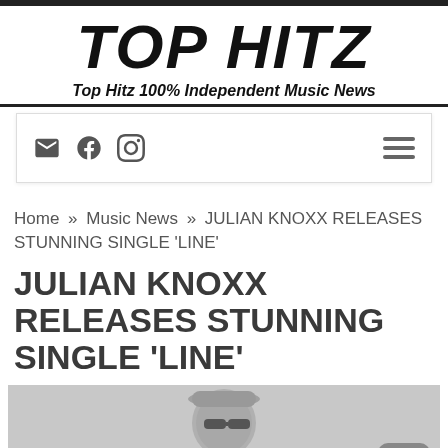TOP HITZ
Top Hitz 100% Independent Music News
[Figure (screenshot): Navigation bar with email, Facebook, and Instagram icons on the left, and a hamburger menu icon on the right]
Home » Music News » JULIAN KNOXX RELEASES STUNNING SINGLE 'LINE'
JULIAN KNOXX RELEASES STUNNING SINGLE 'LINE'
[Figure (photo): A person wearing sunglasses, partially visible, gray-toned photo]